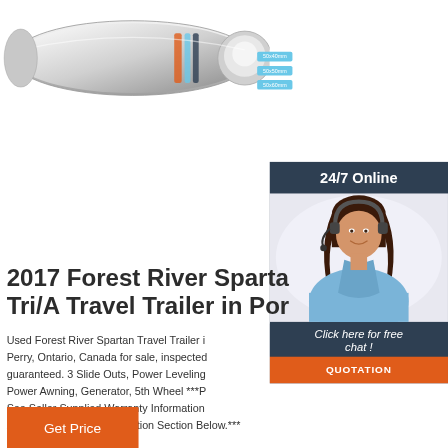[Figure (photo): Chrome trailer hitch ball mount photograph, partial view showing silver metallic hitch]
[Figure (other): Three blue size option badges: 50x40mm, 50x50mm, 50x60mm]
[Figure (photo): 24/7 Online customer service panel with smiling female agent wearing headset, dark navy background, with 'Click here for free chat!' text and orange QUOTATION button]
2017 Forest River Spartan Tri/A Travel Trailer in Por
Used Forest River Spartan Travel Trailer in Perry, Ontario, Canada for sale, inspected guaranteed. 3 Slide Outs, Power Leveling Power Awning, Generator, 5th Wheel ***P See Seller Supplied Warranty Information Attached in the Documentation Section Below.***
Get Price